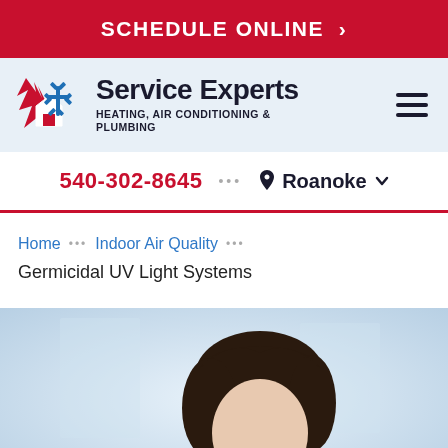SCHEDULE ONLINE >
[Figure (logo): Service Experts Heating, Air Conditioning & Plumbing logo with red flame and blue snowflake icon]
540-302-8645 ··· Roanoke
Home ··· Indoor Air Quality ···
Germicidal UV Light Systems
[Figure (photo): A woman with dark hair in a bright indoor setting, shown from shoulders up, cropped at bottom of page]